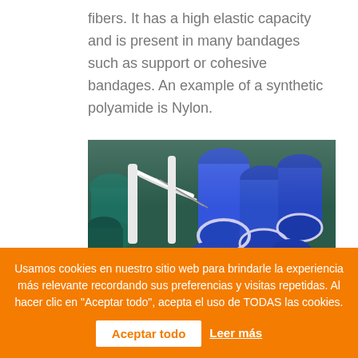fibers. It has a high elastic capacity and is present in many bandages such as support or cohesive bandages. An example of a synthetic polyamide is Nylon.
[Figure (photo): Photo of blue and green thread spools on a textile machine, with white needle guides visible.]
Usamos cookies en nuestro sitio web para brindarle la experiencia más relevante recordando sus preferencias y visitas repetidas. Al hacer clic en "Aceptar todo", acepta el uso de TODAS las cookies.